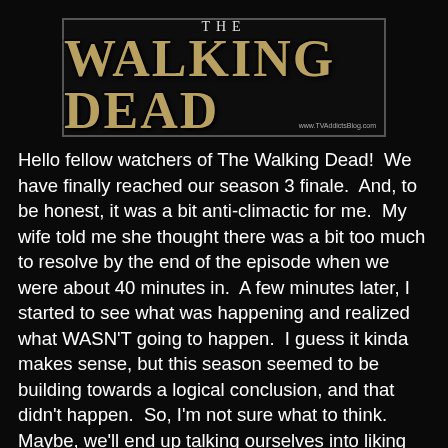[Figure (logo): The Walking Dead TV show logo on dark background with border, with watermark www.TVAddictsBlog.com]
Hello fellow watchers of The Walking Dead!  We have finally reached our season 3 finale.  And, to be honest, it was a bit anti-climactic for me.  My wife told me she thought there was a bit too much to resolve by the end of the episode when we were about 40 minutes in.  A few minutes later, I started to see what was happening and realized what WASN'T going to happen.  I guess it kinda makes sense, but this season seemed to be building towards a logical conclusion, and that didn't happen.  So, I'm not sure what to think.  Maybe, we'll end up talking ourselves into liking it.  But, I'll discuss the major events that occurred below!
Mike V. at 11:50 AM    19 comments:
Share